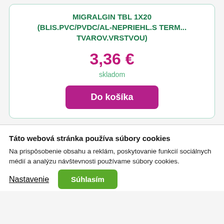MIGRALGIN TBL 1X20 (BLIS.PVC/PVDC/AL-NEPRIEHL.S TERM... TVAROV.VRSTVOU)
3,36 €
skladom
Do košíka
Táto webová stránka používa súbory cookies
Na prispôsobenie obsahu a reklám, poskytovanie funkcií sociálnych médií a analýzu návštevnosti používame súbory cookies.
Nastavenie
Súhlasím